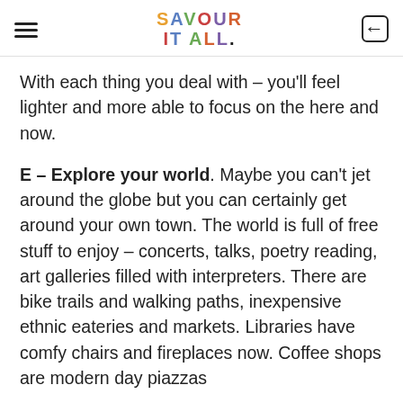SAVOUR IT ALL.
With each thing you deal with – you'll feel lighter and more able to focus on the here and now.
E – Explore your world. Maybe you can't jet around the globe but you can certainly get around your own town. The world is full of free stuff to enjoy – concerts, talks, poetry reading, art galleries filled with interpreters. There are bike trails and walking paths, inexpensive ethnic eateries and markets. Libraries have comfy chairs and fireplaces now. Coffee shops are modern day piazzas